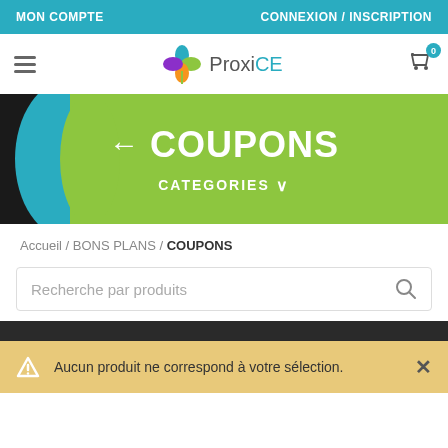MON COMPTE | CONNEXION / INSCRIPTION
[Figure (logo): ProxiCE logo with colorful flower icon]
← COUPONS
CATEGORIES ∨
Accueil / BONS PLANS / COUPONS
Recherche par produits
Aucun produit ne correspond à votre sélection.